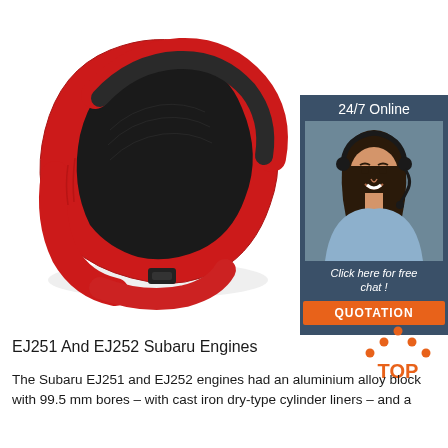[Figure (photo): Red and black velcro/fabric strap or oil filter removal tool, coiled in a loop on white background]
[Figure (infographic): 24/7 Online chat widget showing a woman wearing a headset with a 'Click here for free chat!' message and orange QUOTATION button, on dark blue-grey background]
[Figure (logo): TOP icon with orange triangle/arrow dots above the word TOP in orange]
EJ251 And EJ252 Subaru Engines
The Subaru EJ251 and EJ252 engines had an aluminium alloy block with 99.5 mm bores – with cast iron dry-type cylinder liners – and a